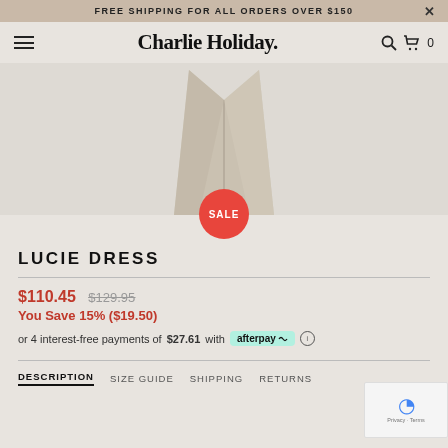FREE SHIPPING FOR ALL ORDERS OVER $150
Charlie Holiday.
[Figure (photo): Partial view of a beige/tan linen dress against a light grey background, with a red SALE badge overlaid at the bottom center]
LUCIE DRESS
$110.45 $129.95
You Save 15% ($19.50)
or 4 interest-free payments of $27.61 with afterpay
DESCRIPTION  SIZE GUIDE  SHIPPING  RETURNS